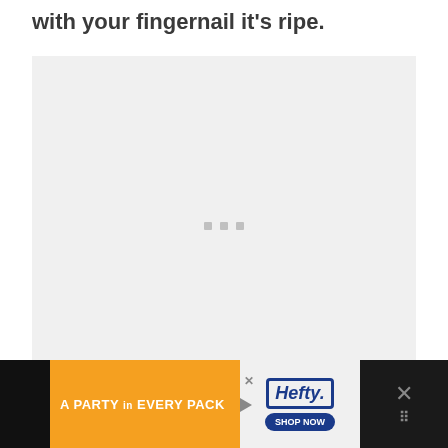with your fingernail it's ripe.
[Figure (photo): Large image placeholder with loading dots, light gray background]
[Figure (other): Advertisement banner: Hefty brand - A PARTY in EVERY PACK, orange background with product image and Shop Now button]